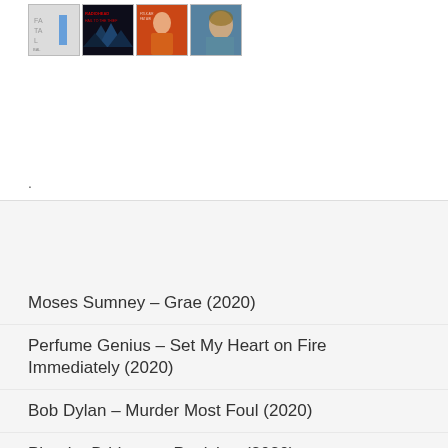[Figure (illustration): Row of four album cover thumbnails: album 1 has light gray design with text, album 2 is dark (Radiohead Hail to the Thief style), album 3 has a woman in pink/orange tones, album 4 has a woman with teal/blue tones (Adele style).]
Moses Sumney – Grae (2020)
Perfume Genius – Set My Heart on Fire Immediately (2020)
Bob Dylan – Murder Most Foul (2020)
Phoebe Bridgers – Punisher (2020)